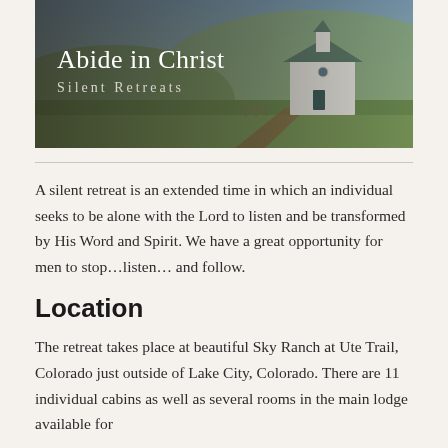[Figure (photo): Banner photo of a white church building on green ranch land with mountains in background. Overlaid text reads 'Abide in Christ Silent Retreats' in white serif font.]
A silent retreat is an extended time in which an individual seeks to be alone with the Lord to listen and be transformed by His Word and Spirit. We have a great opportunity for men to stop…listen… and follow.
Location
The retreat takes place at beautiful Sky Ranch at Ute Trail, Colorado just outside of Lake City, Colorado. There are 11 individual cabins as well as several rooms in the main lodge available for